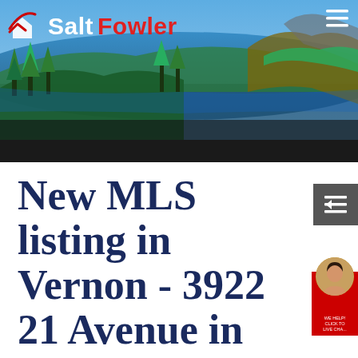[Figure (screenshot): Salt Fowler real estate website header banner with lake and forest landscape background, logo showing 'Salt Fowler' in white and red text with a house/checkmark icon, and hamburger menu icon top right]
New MLS listing in Vernon - 3922 21 Avenue in Vernon
Posted on June 3, 2021 by Lisa Salt
Posted in: Vernon Real Estate